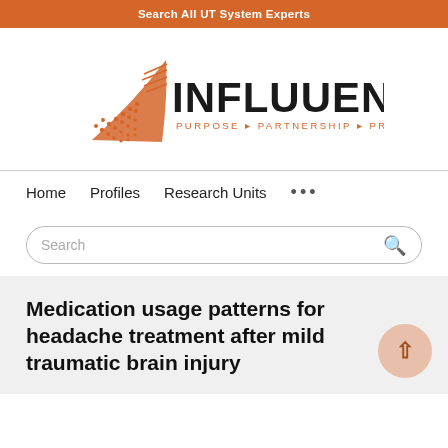Search All UT System Experts
[Figure (logo): Influuent logo with orange geometric triangle/fan shape and text 'INFLUUENT PURPOSE ▸ PARTNERSHIP ▸ PROGRESS']
Home   Profiles   Research Units   ...
Search
Medication usage patterns for headache treatment after mild traumatic brain injury